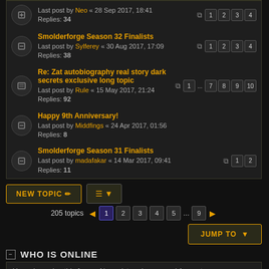Last post by Neo « 28 Sep 2017, 18:41
Replies: 34
Pages: 1 2 3 4
Smolderforge Season 32 Finalists
Last post by Sylferey « 30 Aug 2017, 17:09
Replies: 38
Pages: 1 2 3 4
Re: Zat autobiography real story dark secrets exclusive long topic
Last post by Rule « 15 May 2017, 21:24
Replies: 92
Pages: 1 ... 7 8 9 10
Happy 9th Anniversary!
Last post by Middfings « 24 Apr 2017, 01:56
Replies: 8
Smolderforge Season 31 Finalists
Last post by madafakar « 14 Mar 2017, 09:41
Replies: 11
Pages: 1 2
NEW TOPIC | Sort | 205 topics | Page 1 2 3 4 5 ... 9
JUMP TO
WHO IS ONLINE
Users browsing this forum: No registered users and 1 guest